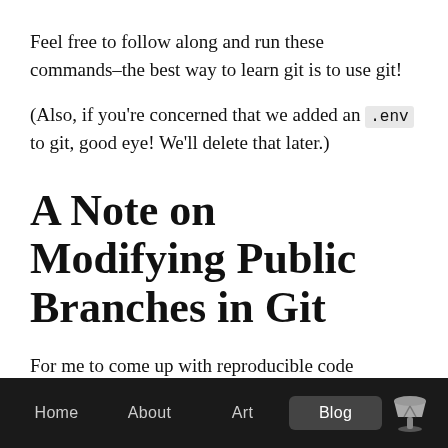Feel free to follow along and run these commands–the best way to learn git is to use git!
(Also, if you're concerned that we added an .env to git, good eye! We'll delete that later.)
A Note on Modifying Public Branches in Git
For me to come up with reproducible code samples for this tutorial–and for you to be able to easily run them
Home  About  Art  Blog